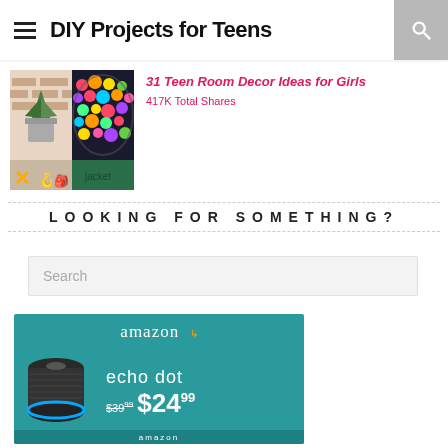DIY Projects for Teens
31 Teen Room Decor Ideas for Girls
417K Total Shares
LOOKING FOR SOMETHING?
[Figure (screenshot): Search input box with placeholder text 'Search']
[Figure (photo): Amazon Echo Dot advertisement on teal background showing the device, amazon logo, 'echo dot' text, and price $39.99 crossed out replaced by $24.99]